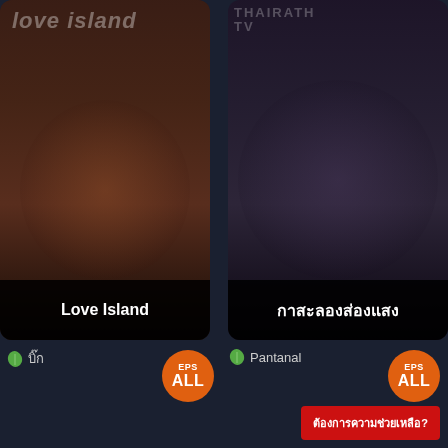[Figure (screenshot): Left card showing Love Island TV show poster with dark warm-toned image of couple, title 'Love Island' at bottom]
[Figure (screenshot): Right card showing Thai/Asian reality show poster with dark cool-toned image of group of people, title in Thai script at bottom]
🌿บิ๊ก
EPS ALL
🌿Pantanal
EPS ALL
ต้องการความช่วยเหลือ?